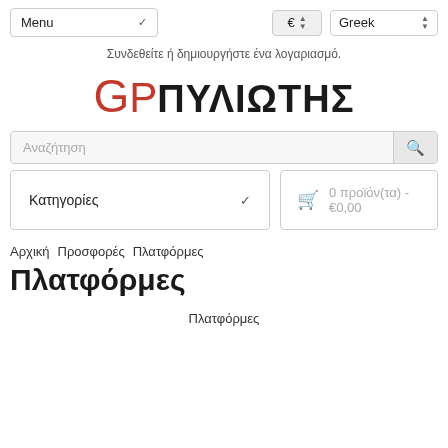Menu | € | Greek
Συνδεθείτε ή δημιουργήστε ένα λογαριασμό.
[Figure (logo): GP Πυλιώτης logo with red GP letters and bold Greek text ΠΥΛΙΩΤΗΣ]
Αναζήτηση
Κατηγορίες
0 προϊόν(τα) - €0,00
Αρχική  Προσφορές  Πλατφόρμες
Πλατφόρμες
Πλατφόρμες